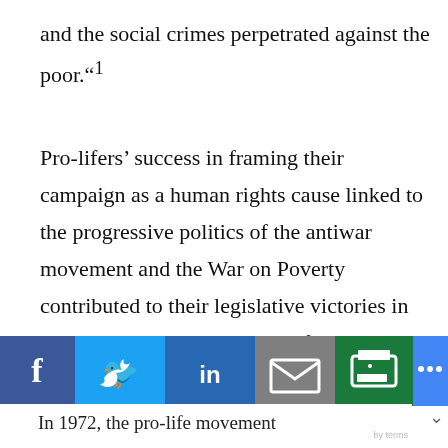and the social crimes perpetrated against the poor.”¹
Pro-lifers’ success in framing their campaign as a human rights cause linked to the progressive politics of the antiwar movement and the War on Poverty contributed to their legislative victories in the early 1970s, when they defeated dozens of
[Figure (screenshot): Social media sharing toolbar with icons for Facebook, Twitter, LinkedIn, email, print, and more options]
In 1972, the pro-life movement